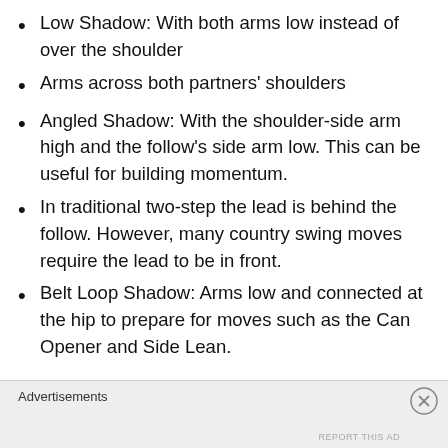Low Shadow: With both arms low instead of over the shoulder
Arms across both partners' shoulders
Angled Shadow: With the shoulder-side arm high and the follow's side arm low. This can be useful for building momentum.
In traditional two-step the lead is behind the follow. However, many country swing moves require the lead to be in front.
Belt Loop Shadow: Arms low and connected at the hip to prepare for moves such as the Can Opener and Side Lean.
Advertisements